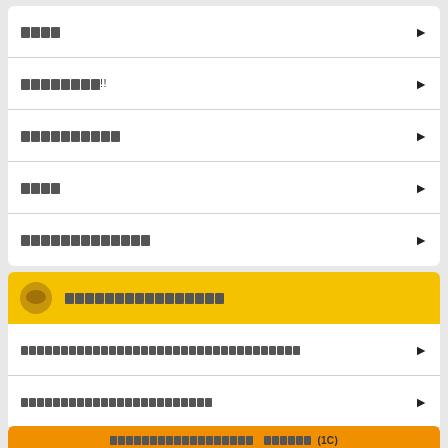████
████████!!
██████████
████
█████████████
████████████████
████████████████████████████████████
████████████████████████
█████████████████████████████
███████████████████ ██████ (1C)